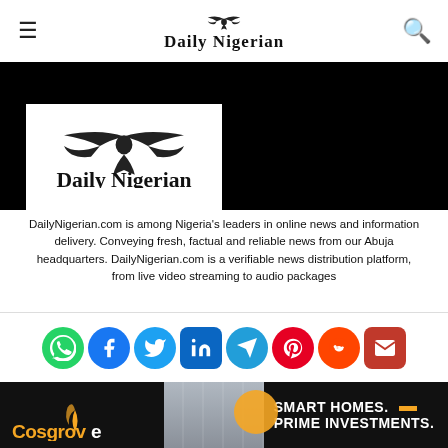Daily Nigerian
[Figure (logo): Daily Nigerian logo with eagle and blackletter text on white background card, displayed over black banner]
DailyNigerian.com is among Nigeria’s leaders in online news and information delivery. Conveying fresh, factual and reliable news from our Abuja headquarters. DailyNigerian.com is a verifiable news distribution platform, from live video streaming to audio packages
[Figure (infographic): Row of social media share icons: WhatsApp, Facebook, Twitter, LinkedIn, Telegram, Pinterest, Reddit, Email]
[Figure (photo): Cosgrove real estate advertisement banner: Smart Homes. Prime Investments.]